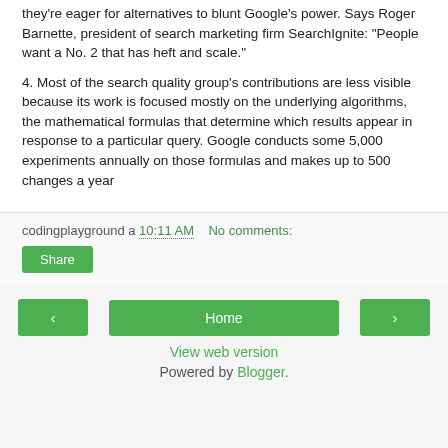they're eager for alternatives to blunt Google's power. Says Roger Barnette, president of search marketing firm SearchIgnite: "People want a No. 2 that has heft and scale."
4. Most of the search quality group's contributions are less visible because its work is focused mostly on the underlying algorithms, the mathematical formulas that determine which results appear in response to a particular query. Google conducts some 5,000 experiments annually on those formulas and makes up to 500 changes a year
codingplayground a 10:11 AM   No comments:
Share
< Home >
View web version
Powered by Blogger.